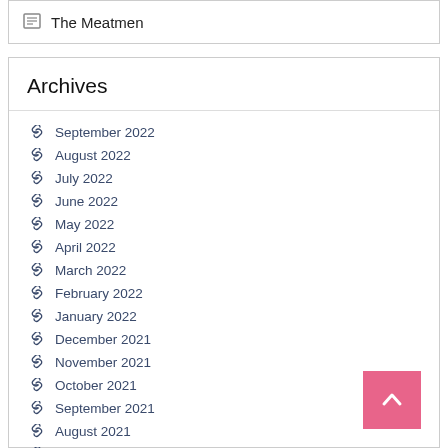The Meatmen
Archives
September 2022
August 2022
July 2022
June 2022
May 2022
April 2022
March 2022
February 2022
January 2022
December 2021
November 2021
October 2021
September 2021
August 2021
July 2021